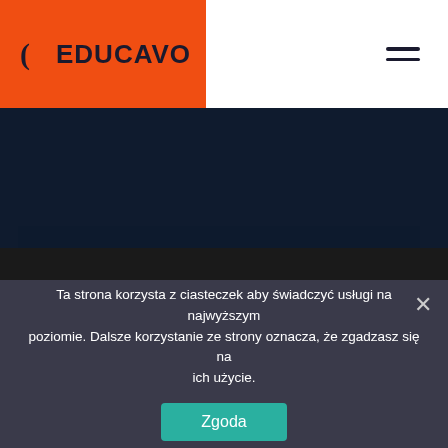[Figure (logo): Educavo logo on orange background, left side of header]
[Figure (logo): Hamburger menu icon on white background, right side of header]
[Figure (illustration): Dark navy blue panel/image area below header]
[Figure (logo): Educavo logo (circle icon + EDUCAVO text) on dark background]
We denounce with righteous indige nationality and dislike
Ta strona korzysta z ciasteczek aby świadczyć usługi na najwyższym poziomie. Dalsze korzystanie ze strony oznacza, że zgadzasz się na ich użycie.
Zgoda